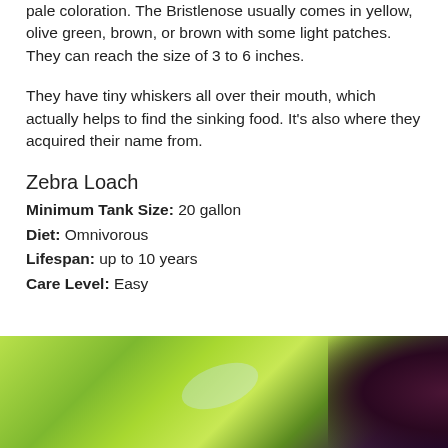pale coloration. The Bristlenose usually comes in yellow, olive green, brown, or brown with some light patches. They can reach the size of 3 to 6 inches.
They have tiny whiskers all over their mouth, which actually helps to find the sinking food. It's also where they acquired their name from.
Zebra Loach
Minimum Tank Size: 20 gallon
Diet: Omnivorous
Lifespan: up to 10 years
Care Level: Easy
[Figure (photo): Close-up photo of a green aquatic plant leaf with blurred purple/dark background]